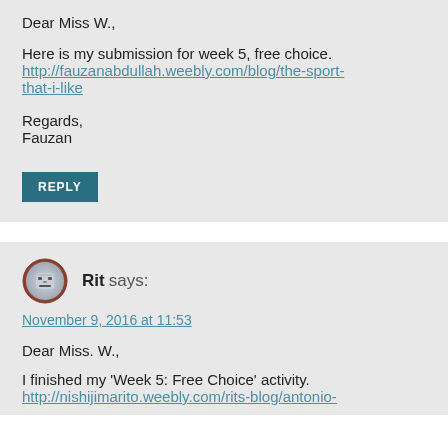Dear Miss W.,
Here is my submission for week 5, free choice.
http://fauzanabdullah.weebly.com/blog/the-sport-that-i-like
Regards,
Fauzan
REPLY
Rit says:
November 9, 2016 at 11:53
Dear Miss. W.,
I finished my ‘Week 5: Free Choice’ activity.
http://nishijimarito.weebly.com/rits-blog/antonio-